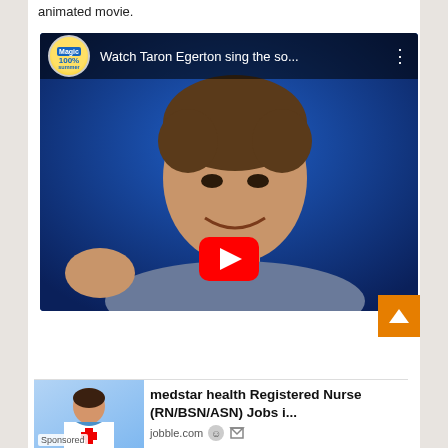animated movie.
[Figure (screenshot): Embedded YouTube video thumbnail showing Taron Egerton with title 'Watch Taron Egerton sing the so...' and Magic FM 100% Summer logo, with red YouTube play button overlay]
[Figure (screenshot): Advertisement banner for 'medstar health Registered Nurse (RN/BSN/ASN) Jobs i...' from jobble.com, labeled Sponsored, with image of nurse]